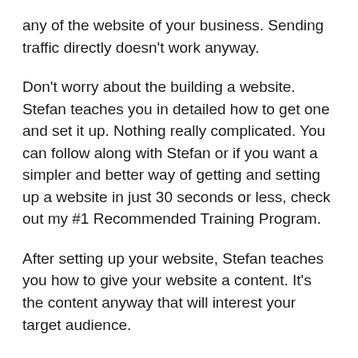any of the website of your business. Sending traffic directly doesn't work anyway.
Don't worry about the building a website. Stefan teaches you in detailed how to get one and set it up. Nothing really complicated. You can follow along with Stefan or if you want a simpler and better way of getting and setting up a website in just 30 seconds or less, check out my #1 Recommended Training Program.
After setting up your website, Stefan teaches you how to give your website a content. It's the content anyway that will interest your target audience.
Inside this training program are several videos divided into 4 modules. The videos are about 10 to 20 minutes long.
The training is very easy to follow and very detailed. It